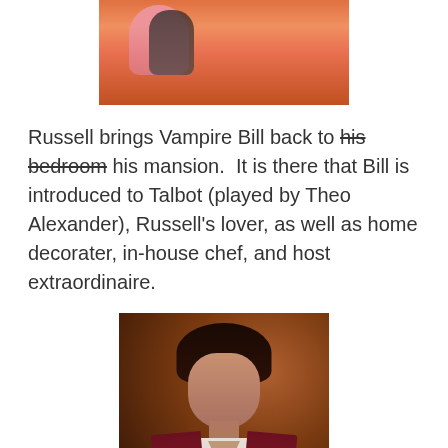[Figure (photo): Book cover or banner image showing 'By Dee-Dee Drake' in cursive text over a pink/orange romantic scene]
Russell brings Vampire Bill back to his bedroom his mansion.  It is there that Bill is introduced to Talbot (played by Theo Alexander), Russell's lover, as well as home decorater, in-house chef, and host extraordinaire.
[Figure (photo): Photo of a dark-haired man in a dark red/maroon velvet jacket over a white open-collar shirt, posed against a warm dark background]